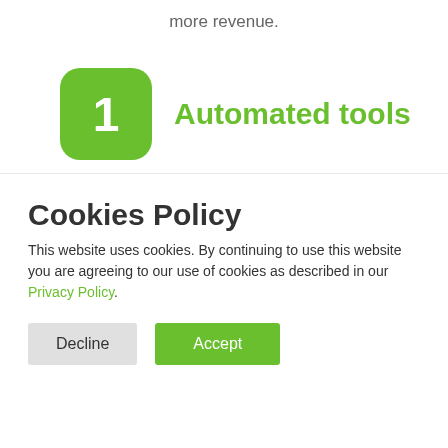more revenue.
1  Automated tools
Automatically generate events in your CRM and email marketing platforms, eliminating data entry and reducing errors.
Cookies Policy
This website uses cookies. By continuing to use this website you are agreeing to our use of cookies as described in our Privacy Policy.
Decline  Accept